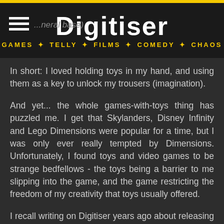Digitiser — GAMES · TELLY · FILMS · COMEDY · CHAOS
In short: I loved holding toys in my hand, and using them as a key to unlock my trousers (imagination).
And yet... the whole games-with-toys thing has puzzled me. I get that Skylanders, Disney Infinity and Lego Dimensions were popular for a time, but I was only ever really tempted by Dimensions. Unfortunately, I found toys and video games to be strange bedfellows - the toys being a barrier to me slipping into the game, and the game restricting the freedom of my creativity that toys usually offered.
I recall writing on Digitiser years ago about releasing add-on packs for games - essentially new outfits, levels and settings. Treating games as an infinity